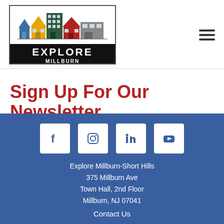[Figure (logo): Explore Millburn Short Hills logo with colorful illustrated houses above text on black background]
Sign Up For Our Newsletter
[Figure (other): GO button in amber/yellow color]
[Figure (other): Social media icons: Facebook, Instagram, LinkedIn, YouTube on blue footer background]
Explore Millburn-Short Hills
375 Millburn Ave
Town Hall, 2nd Floor
Millburn, NJ 07041
Contact Us